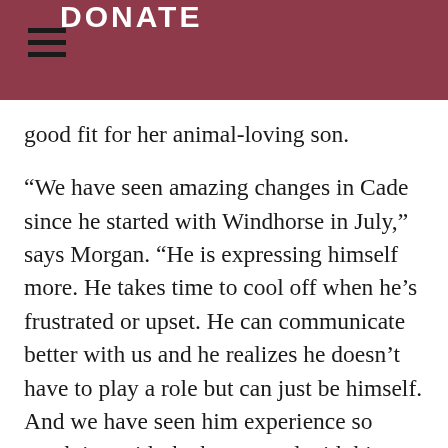DONATE
good fit for her animal-loving son.
“We have seen amazing changes in Cade since he started with Windhorse in July,” says Morgan. “He is expressing himself more. He takes time to cool off when he’s frustrated or upset. He can communicate better with us and he realizes he doesn’t have to play a role but can just be himself. And we have seen him experience so much joy with the horses and with his peers in the classes. He is giggling again and being silly. It has been such a beautiful transformation. He was so tense and bottled up. Windhorse has played such a vital